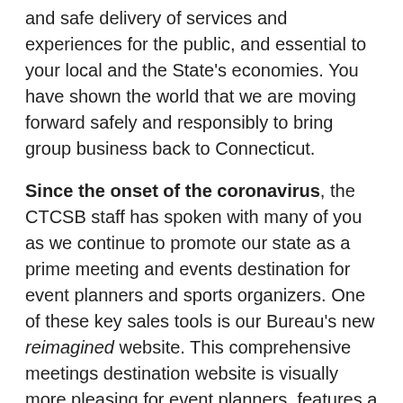and safe delivery of services and experiences for the public, and essential to your local and the State's economies. You have shown the world that we are moving forward safely and responsibly to bring group business back to Connecticut.
Since the onset of the coronavirus, the CTCSB staff has spoken with many of you as we continue to promote our state as a prime meeting and events destination for event planners and sports organizers. One of these key sales tools is our Bureau's new reimagined website. This comprehensive meetings destination website is visually more pleasing for event planners, features a simpler layout and easy navigation for meeting planners, search engine optimization, and video capability. We have been promoting the website digitally to planners, especially in the drive markets of New York City, New Jersey,